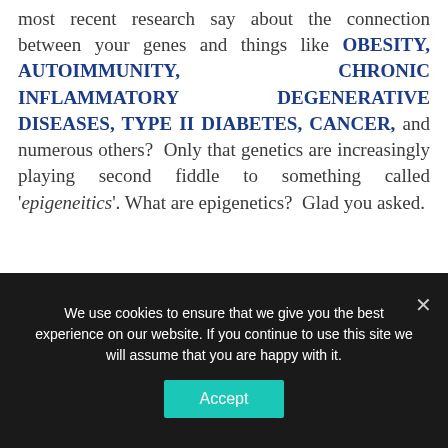most recent research say about the connection between your genes and things like OBESITY, AUTOIMMUNITY, CHRONIC INFLAMMATORY DEGENERATIVE DISEASES, TYPE II DIABETES, CANCER, and numerous others? Only that genetics are increasingly playing second fiddle to something called 'epigeneitics'. What are epigenetics? Glad you asked.
We use cookies to ensure that we give you the best experience on our website. If you continue to use this site we will assume that you are happy with it.